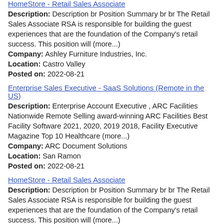HomeStore - Retail Sales Associate
Description: Description br Position Summary br br The Retail Sales Associate RSA is responsible for building the guest experiences that are the foundation of the Company's retail success. This position will (more...)
Company: Ashley Furniture Industries, Inc.
Location: Castro Valley
Posted on: 2022-08-21
Enterprise Sales Executive - SaaS Solutions (Remote in the US)
Description: Enterprise Account Executive , ARC Facilities Nationwide Remote Selling award-winning ARC Facilities Best Facility Software 2021, 2020, 2019 2018, Facility Executive Magazine Top 10 Healthcare (more...)
Company: ARC Document Solutions
Location: San Ramon
Posted on: 2022-08-21
HomeStore - Retail Sales Associate
Description: Description br Position Summary br br The Retail Sales Associate RSA is responsible for building the guest experiences that are the foundation of the Company's retail success. This position will (more...)
Company: Ashley Furniture Industries, Inc.
Location: Union City
Posted on: 2022-08-21